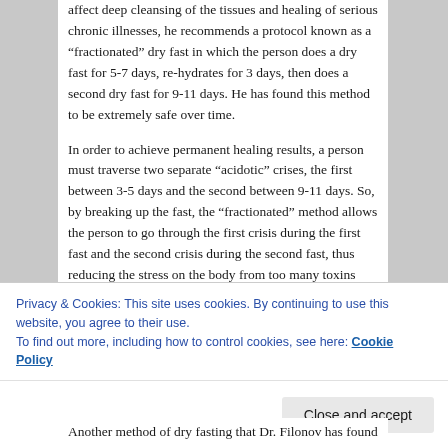affect deep cleansing of the tissues and healing of serious chronic illnesses, he recommends a protocol known as a “fractionated” dry fast in which the person does a dry fast for 5-7 days, re-hydrates for 3 days, then does a second dry fast for 9-11 days. He has found this method to be extremely safe over time.
In order to achieve permanent healing results, a person must traverse two separate “acidotic” crises, the first between 3-5 days and the second between 9-11 days. So, by breaking up the fast, the “fractionated” method allows the person to go through the first crisis during the first fast and the second crisis during the second fast, thus reducing the stress on the body from too many toxins needing to be eliminated at one time. It should be noted
Privacy & Cookies: This site uses cookies. By continuing to use this website, you agree to their use.
To find out more, including how to control cookies, see here: Cookie Policy
Another method of dry fasting that Dr. Filonov has found